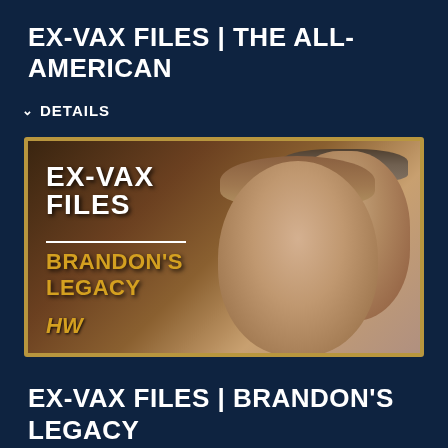EX-VAX FILES | THE ALL-AMERICAN
DETAILS
[Figure (photo): Thumbnail image for 'Ex-Vax Files: Brandon's Legacy' showing a young man and a woman with a headband, with the show title overlaid in white and gold text, and a gold HW logo in the bottom left.]
EX-VAX FILES | BRANDON'S LEGACY